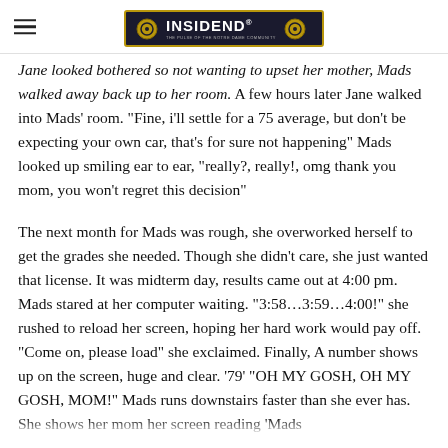INSIDEND
Jane looked bothered so not wanting to upset her mother, Mads walked away back up to her room. A few hours later Jane walked into Mads' room. "Fine, i'll settle for a 75 average, but don't be expecting your own car, that's for sure not happening" Mads looked up smiling ear to ear, "really?, really!, omg thank you mom, you won't regret this decision"
The next month for Mads was rough, she overworked herself to get the grades she needed. Though she didn't care, she just wanted that license. It was midterm day, results came out at 4:00 pm. Mads stared at her computer waiting. "3:58...3:59...4:00!" she rushed to reload her screen, hoping her hard work would pay off. "Come on, please load" she exclaimed. Finally, A number shows up on the screen, huge and clear. '79' "OH MY GOSH, OH MY GOSH, MOM!" Mads runs downstairs faster than she ever has. She shows her mom her screen reading 'Mads